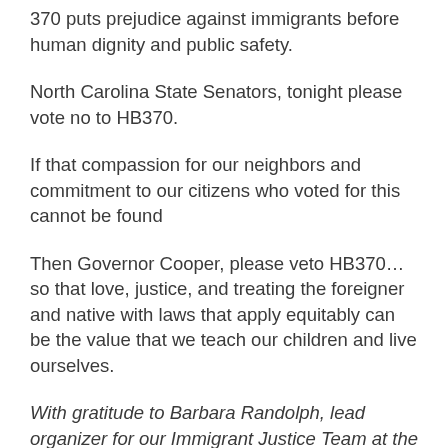370 puts prejudice against immigrants before human dignity and public safety.
North Carolina State Senators, tonight please vote no to HB370.
If that compassion for our neighbors and commitment to our citizens who voted for this cannot be found
Then Governor Cooper, please veto HB370… so that love, justice, and treating the foreigner and native with laws that apply equitably can be the value that we teach our children and live ourselves.
With gratitude to Barbara Randolph, lead organizer for our Immigrant Justice Team at the Star Community Center.